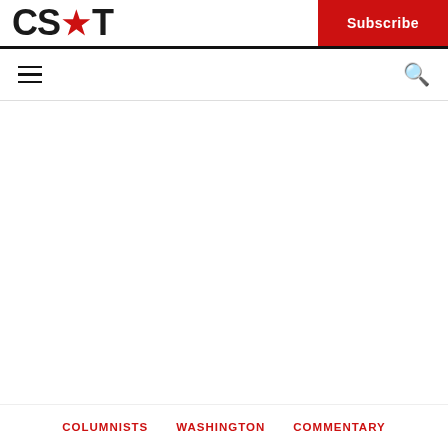CS★T — Subscribe
☰  🔍
COLUMNISTS   WASHINGTON   COMMENTARY